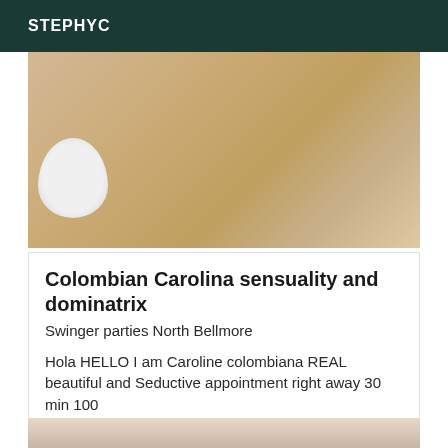STEPHYC
[Figure (photo): Top portion of photo showing a tan/beige background with a partial white rounded object on the lower left]
Colombian Carolina sensuality and dominatrix
Swinger parties North Bellmore
Hola HELLO I am Caroline colombiana REAL beautiful and Seductive appointment right away 30 min 100
[Figure (photo): Close-up photo of a person's face with dark hair, partially visible]